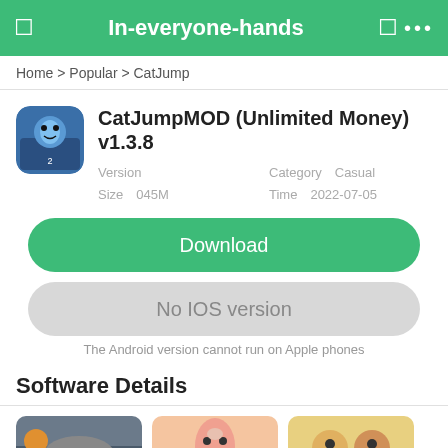In-everyone-hands
Home > Popular > CatJump
CatJumpMOD (Unlimited Money) v1.3.8
Version【】  Category【Casual】  Size【045M】  Time【2022-07-05】
Download
No IOS version
The Android version cannot run on Apple phones
Software Details
[Figure (screenshot): Three game screenshots shown at the bottom of the page]